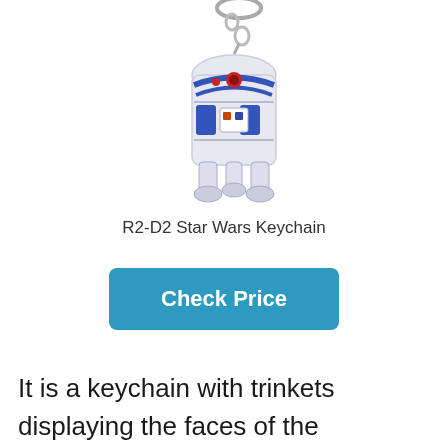[Figure (photo): R2-D2 Star Wars keychain product photo showing a metal keychain with an R2-D2 robot charm in blue and white colors, hanging from a silver key ring]
R2-D2 Star Wars Keychain
Check Price
It is a keychain with trinkets displaying the faces of the characters from the Millenium